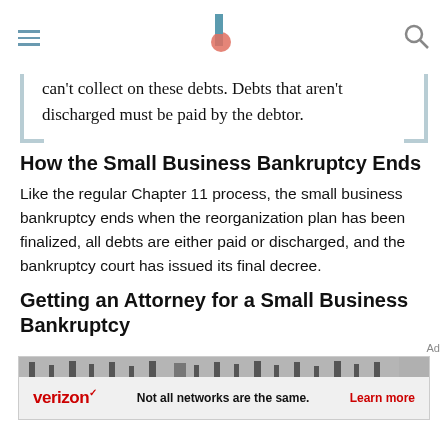[Navigation header with menu, logo, and search]
can't collect on these debts. Debts that aren't discharged must be paid by the debtor.
How the Small Business Bankruptcy Ends
Like the regular Chapter 11 process, the small business bankruptcy ends when the reorganization plan has been finalized, all debts are either paid or discharged, and the bankruptcy court has issued its final decree.
Getting an Attorney for a Small Business Bankruptcy
[Figure (advertisement): Verizon ad banner: 'Not all networks are the same. Learn more']